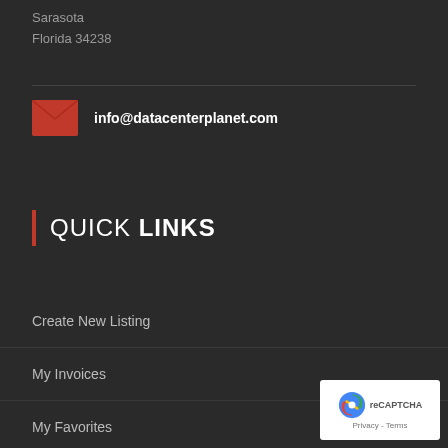Sarasota
Florida 34238
info@datacenterplanet.com
QUICK LINKS
Create New Listing
My Invoices
My Favorites
My Listings
News